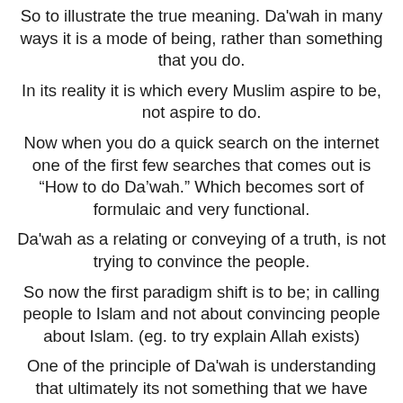So to illustrate the true meaning. Da'wah in many ways it is a mode of being, rather than something that you do.
In its reality it is which every Muslim aspire to be, not aspire to do.
Now when you do a quick search on the internet one of the first few searches that comes out is “How to do Da’wah.” Which becomes sort of formulaic and very functional.
Da'wah as a relating or conveying of a truth, is not trying to convince the people.
So now the first paradigm shift is to be; in calling people to Islam and not about convincing people about Islam. (eg. to try explain Allah exists)
One of the principle of Da'wah is understanding that ultimately its not something that we have control over.